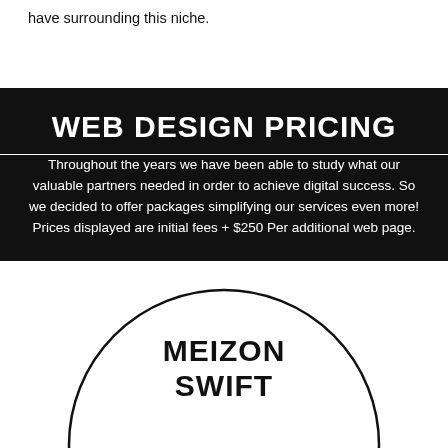have surrounding this niche.
WEB DESIGN PRICING
Throughout the years we have been able to study what our valuable partners needed in order to achieve digital success. So we decided to offer packages simplifying our services even more! Prices displayed are initial fees + $250 Per additional web page.
[Figure (illustration): Partially visible circle outline with 'MEIZON SWIFT' text inside, cropped at the bottom of the page]
MEIZON SWIFT